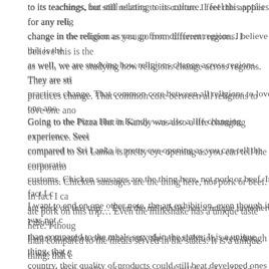to its teachings, but still relating to its culture. I feel this applies for any religion, change in the religion as you go from different regions. I believe this is the same as well, we are studying how religions change across regions. They are still, but practices change. That common core between all religions to love one ano...
Going to the Pizza Hut in Kandy was also a life changing experience. Seeing compared to Sri Lanka is pretty eye opening as you can tell the corporation customs. Chicken sausages are the thing here, not pork or beef. In fact I c... ate pork on this trip... Even the milkshake has a unique taste here. I though than compared to the meals served in the states. It is a unique thing, that e... country, their quality of products could still beat developed ones in different...
I want to end on one other note, the art exhibition, even though it was not c... was still a bit unstructured since it really was just walking around and looki... your own interpretation and with what the artist had in mind. It completely b... learned in the Buddhist museum, all the symbolism and meaning was inter... painting, every stroke. It really reinforced what life was about, the weightles... the ability to think with an open mind, so vast that it connects with the unive... are not only open to those around you, but also the universe within your mi... yourself from the inside. I also noticed there were some works of art where... person and with that person you both can achieve a greater understanding... beautifully way to think of this culture.
I am just completely thrilled to see such lovely connections in the culture of...